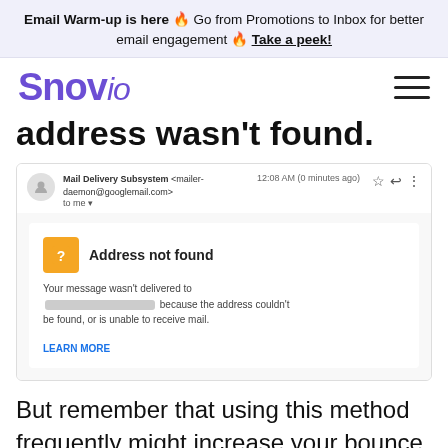Email Warm-up is here 🔥 Go from Promotions to Inbox for better email engagement 🔥 Take a peek!
[Figure (screenshot): Snov.io logo with hamburger menu navigation bar]
address wasn't found.
[Figure (screenshot): Gmail bounce notification screenshot showing 'Address not found' error from Mail Delivery Subsystem, message wasn't delivered because the address couldn't be found or is unable to receive mail, with LEARN MORE link]
But remember that using this method frequently might increase your bounce rate, damage your sender reputation, get you added to spam lists, and mes...